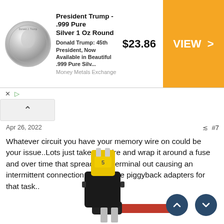[Figure (screenshot): Advertisement banner: President Trump .999 Pure Silver 1 Oz Round coin product listing. Shows silver coin image on left, product title, description, price $23.86, and orange VIEW > button on right. Money Metals Exchange seller.]
Apr 26, 2022
Whatever circuit you have your memory wire on could be your issue..Lots just take the wire and wrap it around a fuse and over time that spreads the terminal out causing an intermittent connection..They have piggyback adapters for that task..
[Figure (photo): Photo of a piggyback fuse adapter/tap for automotive blade fuses. Shows a black plastic housing with a yellow blade fuse inserted on top, and a red wire extending from the bottom right.]